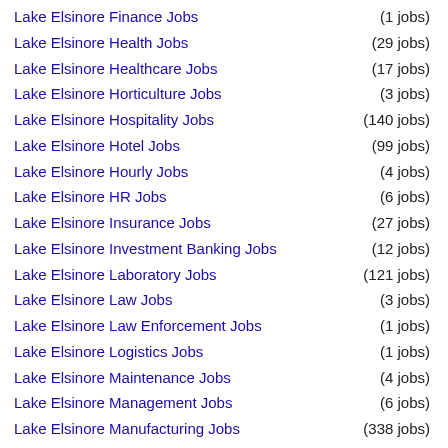Lake Elsinore Finance Jobs (1 jobs)
Lake Elsinore Health Jobs (29 jobs)
Lake Elsinore Healthcare Jobs (17 jobs)
Lake Elsinore Horticulture Jobs (3 jobs)
Lake Elsinore Hospitality Jobs (140 jobs)
Lake Elsinore Hotel Jobs (99 jobs)
Lake Elsinore Hourly Jobs (4 jobs)
Lake Elsinore HR Jobs (6 jobs)
Lake Elsinore Insurance Jobs (27 jobs)
Lake Elsinore Investment Banking Jobs (12 jobs)
Lake Elsinore Laboratory Jobs (121 jobs)
Lake Elsinore Law Jobs (3 jobs)
Lake Elsinore Law Enforcement Jobs (1 jobs)
Lake Elsinore Logistics Jobs (1 jobs)
Lake Elsinore Maintenance Jobs (4 jobs)
Lake Elsinore Management Jobs (6 jobs)
Lake Elsinore Manufacturing Jobs (338 jobs)
Lake Elsinore Marketing Jobs (9 jobs)
Lake Elsinore Medical Jobs (35 jobs)
Lake Elsinore Medical Tech Jobs (2 jobs)